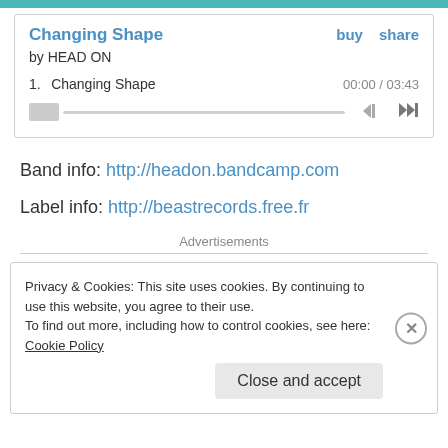[Figure (screenshot): Top teal/cyan decorative banner bar]
Changing Shape  buy  share
by HEAD ON
1.  Changing Shape  00:00 / 03:43
[progress bar] [skip back] [skip forward]
Band info: http://headon.bandcamp.com
Label info: http://beastrecords.free.fr
Advertisements
Privacy & Cookies: This site uses cookies. By continuing to use this website, you agree to their use.
To find out more, including how to control cookies, see here: Cookie Policy
Close and accept